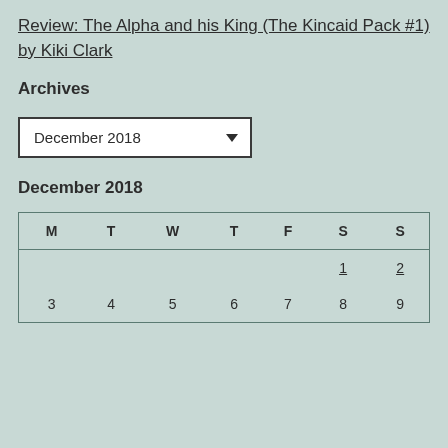Review: The Alpha and his King (The Kincaid Pack #1) by Kiki Clark
Archives
December 2018 (dropdown)
December 2018
| M | T | W | T | F | S | S |
| --- | --- | --- | --- | --- | --- | --- |
|  |  |  |  |  | 1 | 2 |
| 3 | 4 | 5 | 6 | 7 | 8 | 9 |